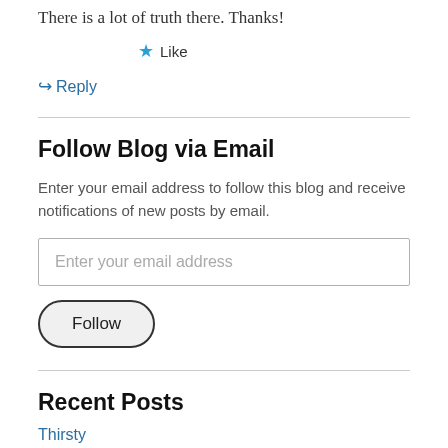There is a lot of truth there. Thanks!
★ Like
↩ Reply
Follow Blog via Email
Enter your email address to follow this blog and receive notifications of new posts by email.
Enter your email address
Follow
Recent Posts
Thirsty